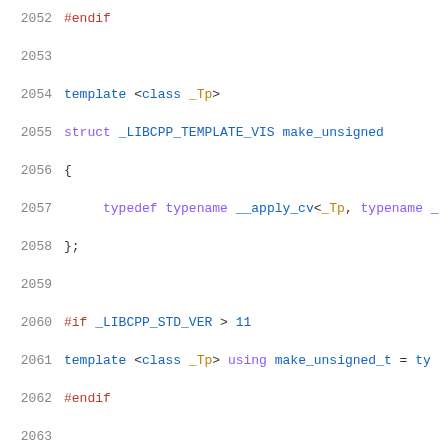2052   #endif
2053
2054   template <class _Tp>
2055   struct _LIBCPP_TEMPLATE_VIS make_unsigned
2056   {
2057       typedef typename __apply_cv<_Tp, typename _
2058   };
2059
2060   #if _LIBCPP_STD_VER > 11
2061   template <class _Tp> using make_unsigned_t = ty
2062   #endif
2063
2064   template <class _Tp, class _Up, class = void>
2065   struct __common_type2_imp {};
2066
2067   template <class _Tp, class _Up>
2068   struct __common_type2_imp<_Tp, _Up,
2069                            typename __void_t<dec
2070                                              tru
2071                                              )>:
2072   {
2073       typedef  _LIBCPP_NODEBUG_TYPE typename decay<d